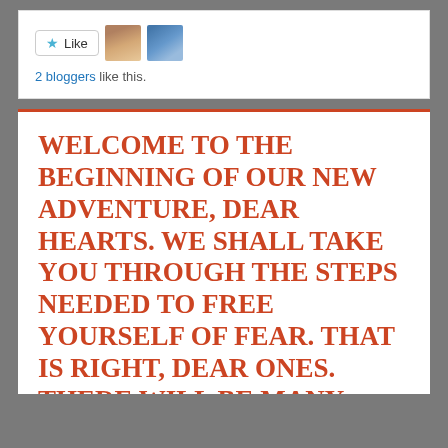[Figure (other): Like button with star icon, followed by two blogger avatar thumbnails]
2 bloggers like this.
WELCOME TO THE BEGINNING OF OUR NEW ADVENTURE, DEAR HEARTS. WE SHALL TAKE YOU THROUGH THE STEPS NEEDED TO FREE YOURSELF OF FEAR. THAT IS RIGHT, DEAR ONES. THERE WILL BE MANY REWARDS, AS OUR DEAREST CAROLYN WILL TESTIFY. THEY INCLUDE CALM AND A COMPOSURE NOT KNOWN BEFORE. ALL SITUATIONS SHALL BECOME CLEAR AS YOU REMOVE THE NEGATIVES YOU CARRY. LAST, BUT NOT